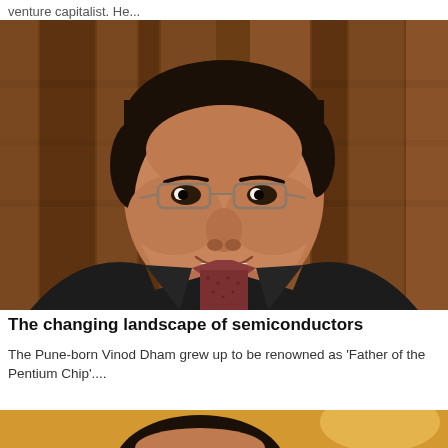venture capitalist. He...
[Figure (photo): Portrait photo of a middle-aged South Asian man with glasses, wearing a dark suit jacket and patterned shirt, smiling, against a warm brown wooden background]
The changing landscape of semiconductors
The Pune-born Vinod Dham grew up to be renowned as 'Father of the Pentium Chip'....
[Figure (photo): Partial portrait photo of a person against a warm golden/amber background, only top of head visible]